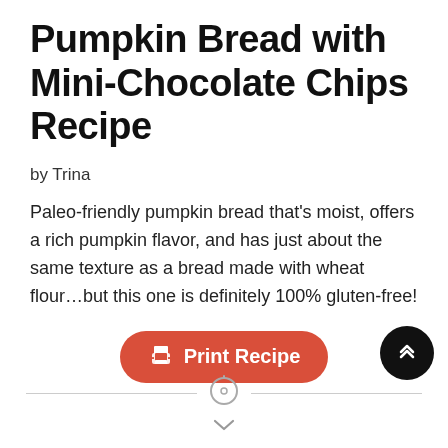Pumpkin Bread with Mini-Chocolate Chips Recipe
by Trina
Paleo-friendly pumpkin bread that's moist, offers a rich pumpkin flavor, and has just about the same texture as a bread made with wheat flour…but this one is definitely 100% gluten-free!
[Figure (other): Orange rounded-rectangle button with printer icon and text 'Print Recipe']
[Figure (other): Black circular scroll-to-top button with double chevron up arrow, positioned bottom-right]
[Figure (other): Horizontal divider line with a timer/clock icon centered, and a downward chevron arrow below]